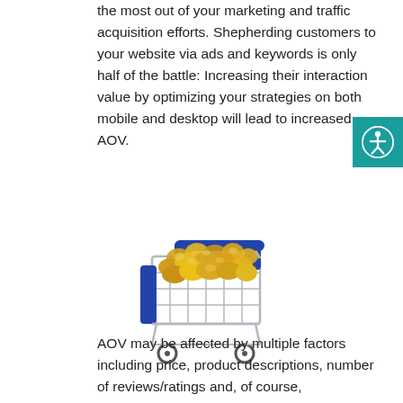the most out of your marketing and traffic acquisition efforts. Shepherding customers to your website via ads and keywords is only half of the battle: Increasing their interaction value by optimizing your strategies on both mobile and desktop will lead to increased AOV.
[Figure (photo): A small miniature shopping cart filled with popcorn on a white background]
AOV may be affected by multiple factors including price, product descriptions, number of reviews/ratings and, of course,